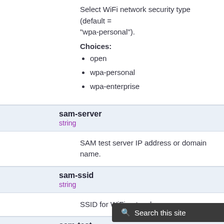Select WiFi network security type (default = "wpa-personal").
Choices:
open
wpa-personal
wpa-enterprise
sam-server
string
SAM test server IP address or domain name.
sam-ssid
string
SSID for WiFi network.
sam-test
string
Select SAM test type (default = "PING").
Choices: